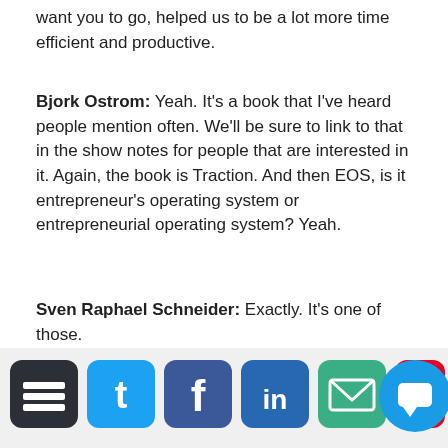want you to go, helped us to be a lot more time efficient and productive.
Bjork Ostrom: Yeah. It's a book that I've heard people mention often. We'll be sure to link to that in the show notes for people that are interested in it. Again, the book is Traction. And then EOS, is it entrepreneur's operating system or entrepreneurial operating system? Yeah.
Sven Raphael Schneider: Exactly. It's one of those.
Bjork Ostrom: Okay.
Sven Raphael Schneider: It doesn't matter w
[Figure (infographic): Social sharing bar with icons for Twitter, Facebook, LinkedIn, Buffer, Email, Pinterest, and a phone/chat icon, plus a chat bubble widget in the bottom right corner]